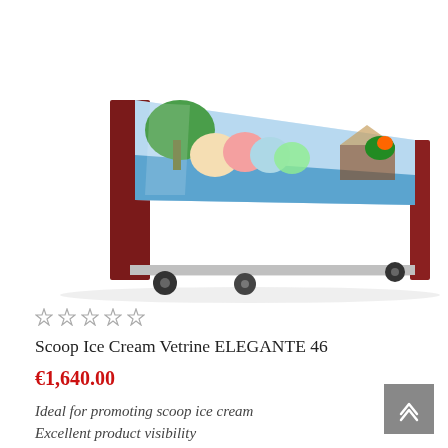[Figure (photo): A scoop ice cream display freezer (vitrine) named ELEGANTE 46, shown at an angle. The unit has dark red/mahogany wood-effect side panels, a white body, a curved glass top panel decorated with a colorful tropical beach scene (ice cream scoops, parrot, sea view), and black caster wheels at the base.]
☆ ☆ ☆ ☆ ☆
Scoop Ice Cream Vetrine ELEGANTE 46
€1,640.00
Ideal for promoting scoop ice cream
Excellent product visibility